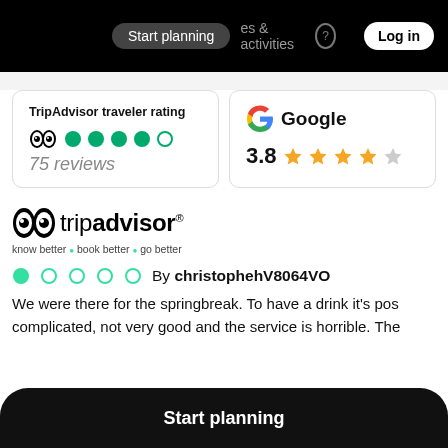Start planning | es & activities | Log in
TripAdvisor traveler rating
4/5 circles
75 reviews
Google 3.8 stars
[Figure (logo): TripAdvisor logo with tagline: know better, book better, go better]
By christophehV8064VO
We were there for the springbreak. To have a drink it's pos complicated, not very good and the service is horrible. The
Start planning